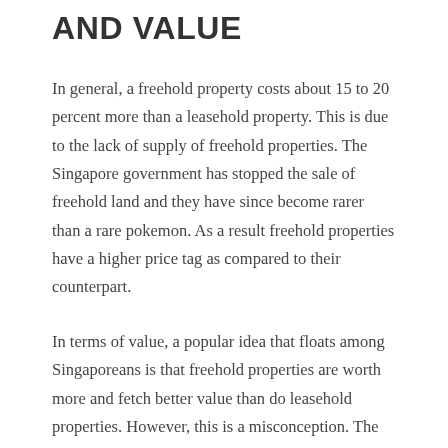AND VALUE
In general, a freehold property costs about 15 to 20 percent more than a leasehold property. This is due to the lack of supply of freehold properties. The Singapore government has stopped the sale of freehold land and they have since become rarer than a rare pokemon. As a result freehold properties have a higher price tag as compared to their counterpart.
In terms of value, a popular idea that floats among Singaporeans is that freehold properties are worth more and fetch better value than do leasehold properties. However, this is a misconception. The truth is, not all freehold properties have a higher market value. Some leasehold properties actually have a higher market value